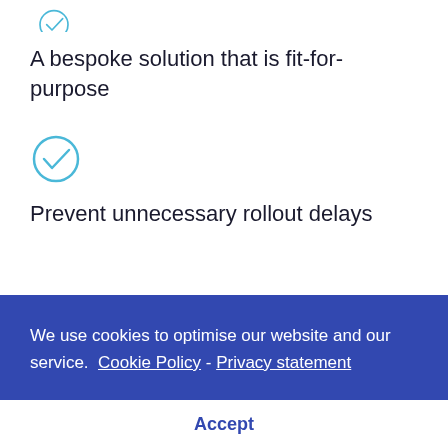[Figure (illustration): Light blue circle checkmark icon (partial, cropped at top)]
A bespoke solution that is fit-for-purpose
[Figure (illustration): Light blue circle checkmark icon]
Prevent unnecessary rollout delays
We use cookies to optimise our website and our service.  Cookie Policy -  Privacy statement
Accept